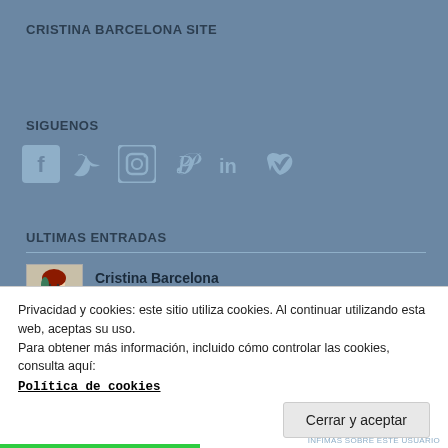CRISTINA BARCELONA SITE
SIGUENOS
[Figure (illustration): Six social media icons: Facebook, Twitter, Instagram, Pinterest, LinkedIn, Vimeo — rendered in muted blue-gray color]
ULTIMAS ENTRADAS
[Figure (illustration): Small portrait thumbnail of an illustrated woman with red hair and green top]
Cristina Barcelona
Privacidad y cookies: este sitio utiliza cookies. Al continuar utilizando esta web, aceptas su uso.
Para obtener más información, incluido cómo controlar las cookies, consulta aquí:
Política de cookies
Cerrar y aceptar